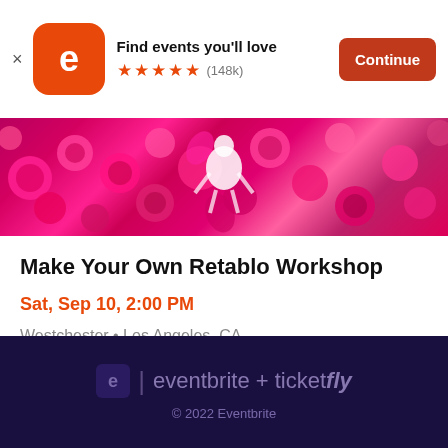Find events you'll love ★★★★★ (148k) Continue
[Figure (photo): Hero image showing colorful sequins and jewels in pink, red, and purple tones with decorative skeleton/floral art]
Make Your Own Retablo Workshop
Sat, Sep 10, 2:00 PM
Westchester • Los Angeles, CA
$150
eventbrite + ticketfly © 2022 Eventbrite